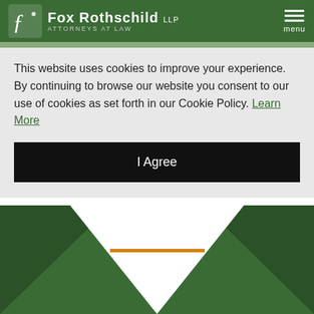Fox Rothschild LLP ATTORNEYS AT LAW
This website uses cookies to improve your experience. By continuing to browse our website you consent to our use of cookies as set forth in our Cookie Policy. Learn More
I Agree
[Figure (illustration): Decorative green and white angled graphic with an orange horizontal accent bar]